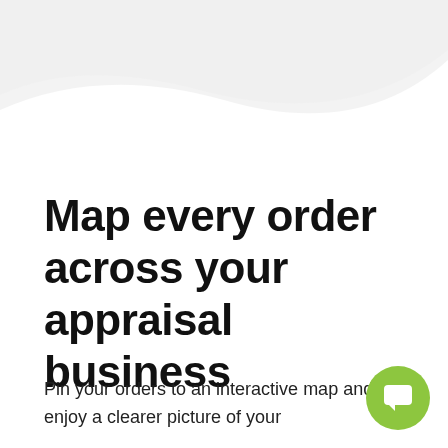[Figure (illustration): Light grey decorative wave/curve shape at the top of the page]
Map every order across your appraisal business
Pin your orders to an interactive map and enjoy a clearer picture of your
[Figure (illustration): Green circular chat/message button icon in the bottom right corner]